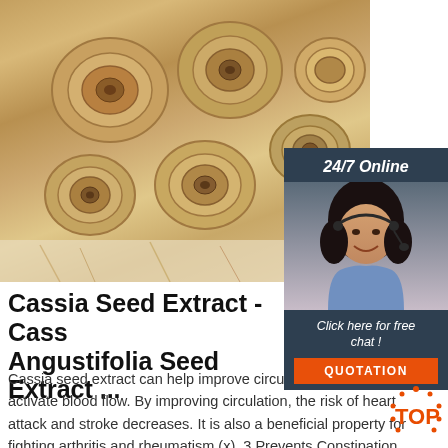[Figure (photo): Close-up photo of dried cassia seed/root cross-sections, showing multiple circular cut pieces with woody tan/brown coloring arranged on a white background]
[Figure (infographic): Sidebar widget with dark blue background showing '24/7 Online' text, a photo of a smiling woman with a headset, 'Click here for free chat!' text, and an orange QUOTATION button]
Cassia Seed Extract - Cassia Angustifolia Seed Extract ...
Cassia seed extract can help improve circulation and also activate blood flow. By improving circulation, the risk of heart attack and stroke decreases. It is also a beneficial property for fighting arthritis and rheumatism (x). 3.Prevents Constipation. Cassia seed extract has therapeutic benefits like its laxative properties. The extract has ...